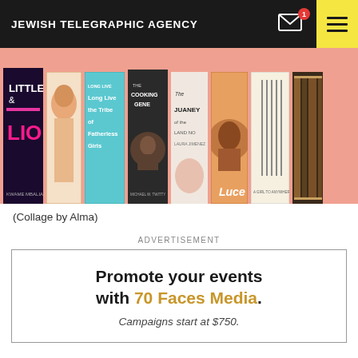JEWISH TELEGRAPHIC AGENCY
[Figure (illustration): Collage of book covers on a pink/salmon background including: Little & Lion, Long Live the Tribe of Fatherless Girls, The Cooking Gene, Juana of Land No, Luce, and other titles.]
(Collage by Alma)
ADVERTISEMENT
[Figure (infographic): Advertisement box with text: Promote your events with 70 Faces Media. Campaigns start at $750.]